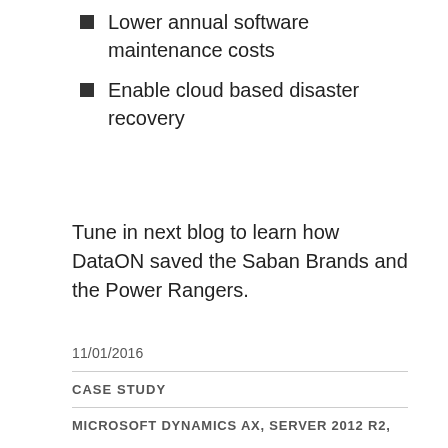Lower annual software maintenance costs
Enable cloud based disaster recovery
Tune in next blog to learn how DataON saved the Saban Brands and the Power Rangers.
11/01/2016
CASE STUDY
MICROSOFT DYNAMICS AX, SERVER 2012 R2,